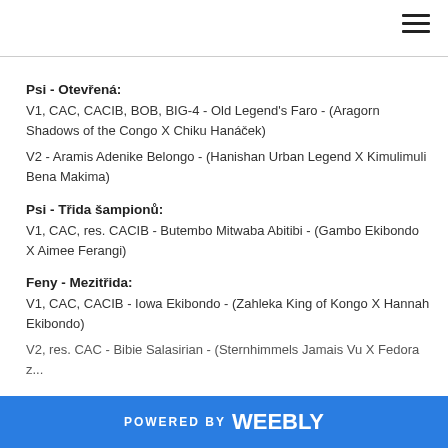☰
Psi - Otevřená:
V1, CAC, CACIB, BOB, BIG-4 - Old Legend's Faro - (Aragorn Shadows of the Congo X Chiku Hanáček)
V2 - Aramis Adenike Belongo - (Hanishan Urban Legend X Kimulimuli Bena Makima)
Psi - Třida šampionů:
V1, CAC, res. CACIB - Butembo Mitwaba Abitibi - (Gambo Ekibondo X Aimee Ferangi)
Feny - Mezitřida:
V1, CAC, CACIB - Iowa Ekibondo - (Zahleka King of Kongo X Hannah Ekibondo)
V2, res. CAC - Bibie Salasirian - (Sternhimmels Jamais Vu X Fedora z…
POWERED BY weebly